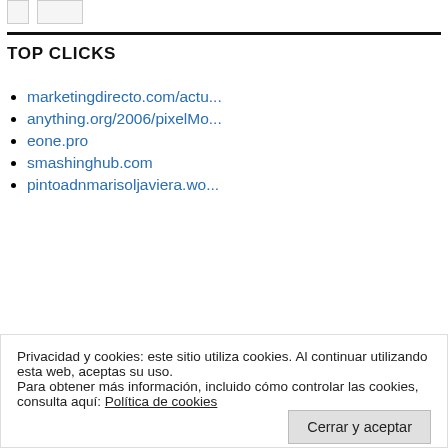TOP CLICKS
marketingdirecto.com/actu...
anything.org/2006/pixelMo...
eone.pro
smashinghub.com
pintoadnmarisoljaviera.wo...
Privacidad y cookies: este sitio utiliza cookies. Al continuar utilizando esta web, aceptas su uso.
Para obtener más información, incluido cómo controlar las cookies, consulta aquí: Política de cookies
Cerrar y aceptar